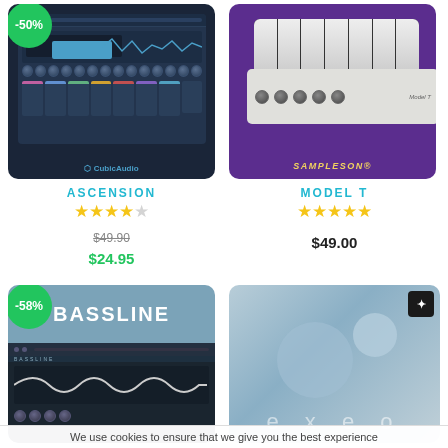[Figure (screenshot): Ascension synthesizer plugin screenshot with -50% badge, CubicAudio branding, dark blue UI]
[Figure (screenshot): Sampleson Model T keyboard plugin screenshot on purple background]
ASCENSION
MODEL T
★★★★☆
★★★★★
$49.90 $24.95
$49.00
[Figure (screenshot): Bassline plugin screenshot with -58% badge, dark UI with wave display]
[Figure (screenshot): Exeo plugin with planets background, Arturia logo corner, light blue/grey misty scene]
We use cookies to ensure that we give you the best experience